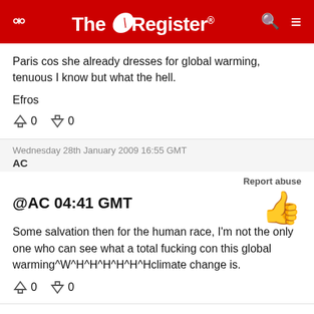The Register
Paris cos she already dresses for global warming, tenuous I know but what the hell.
Efros
↑0  ↓0
Wednesday 28th January 2009 16:55 GMT
AC
Report abuse
@AC 04:41 GMT
Some salvation then for the human race, I'm not the only one who can see what a total fucking con this global warming^W^H^H^H^H^H^Hclimate change is.
↑0  ↓0